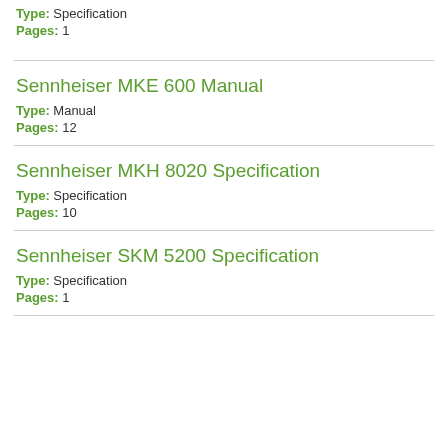Type: Specification
Pages: 1
Sennheiser MKE 600 Manual
Type: Manual
Pages: 12
Sennheiser MKH 8020 Specification
Type: Specification
Pages: 10
Sennheiser SKM 5200 Specification
Type: Specification
Pages: 1